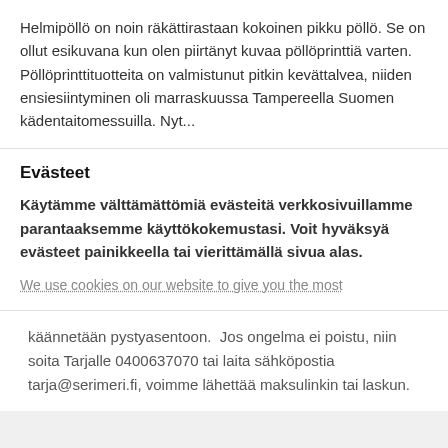Helmipöllö on noin räkättirastaan kokoinen pikku pöllö. Se on ollut esikuvana kun olen piirtänyt kuvaa pöllöprinttiä varten. Pöllöprinttituotteita on valmistunut pitkin kevättalvea, niiden ensiesiintyminen oli marraskuussa Tampereella Suomen kädentaitomessuilla. Nyt...
Evästeet
Käytämme välttämättömiä evästeitä verkkosivuillamme parantaaksemme käyttökokemustasi. Voit hyväksyä evästeet painikkeella tai vierittämällä sivua alas.
We use cookies on our website to give you the most
käännetään pystyasentoon.  Jos ongelma ei poistu, niin soita Tarjalle 0400637070 tai laita sähköpostia tarja@serimeri.fi, voimme lähettää maksulinkin tai laskun.